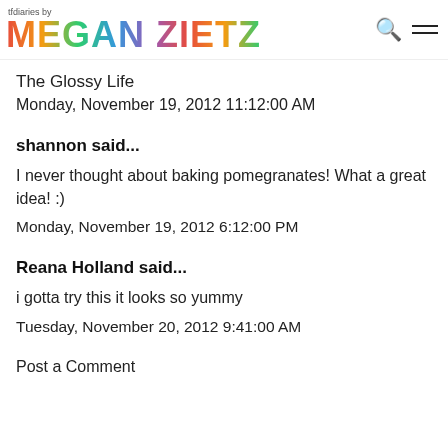tfdiaries by MEGAN ZIETZ
The Glossy Life
Monday, November 19, 2012 11:12:00 AM
shannon said...
I never thought about baking pomegranates! What a great idea! :)
Monday, November 19, 2012 6:12:00 PM
Reana Holland said...
i gotta try this it looks so yummy
Tuesday, November 20, 2012 9:41:00 AM
Post a Comment